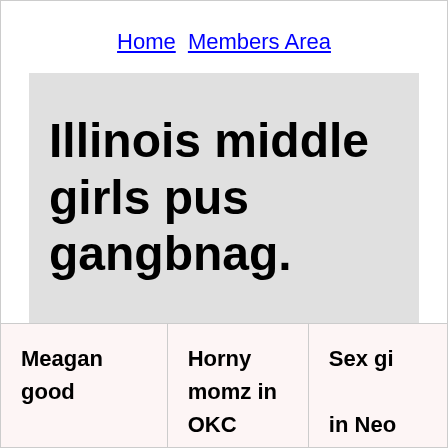Home  Members Area
Illinois middle girls pus gangbnag.
| Meagan good pussy women moundcityks | Horny momz in OKC today. | Sex gi in Neo |